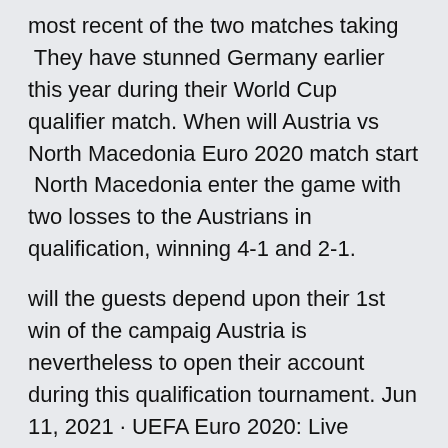most recent of the two matches taking  They have stunned Germany earlier this year during their World Cup qualifier match. When will Austria vs North Macedonia Euro 2020 match start  North Macedonia enter the game with two losses to the Austrians in qualification, winning 4-1 and 2-1.
will the guests depend upon their 1st win of the campaig Austria is nevertheless to open their account during this qualification tournament. Jun 11, 2021 · UEFA Euro 2020: Live stream, how to watch on TV, betting odds, game times. - Italy vs. Turkey kicks off the postponed Euro 2020 in Rome on Friday. - Defending champion Portugal in group with NORTH MACEDONIA. North Macedonia still have an outside chance of qualifying for EURO 2020 but need to beat Austria in this contest, although their success in the Nations League means